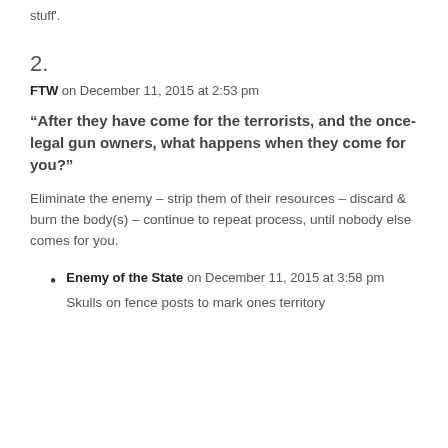stuff'.
2.
FTW on December 11, 2015 at 2:53 pm
“After they have come for the terrorists, and the once-legal gun owners, what happens when they come for you?”
Eliminate the enemy – strip them of their resources – discard & burn the body(s) – continue to repeat process, until nobody else comes for you.
Enemy of the State on December 11, 2015 at 3:58 pm
Skulls on fence posts to mark ones territory